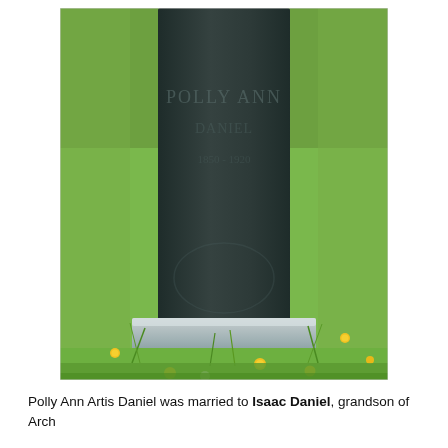[Figure (photo): Photograph of a dark granite gravestone with a light gray base/pedestal, surrounded by green grass and yellow dandelion flowers. The stone face has weathered inscriptions that are difficult to read clearly.]
Polly Ann Artis Daniel was married to Isaac Daniel, grandson of Arch